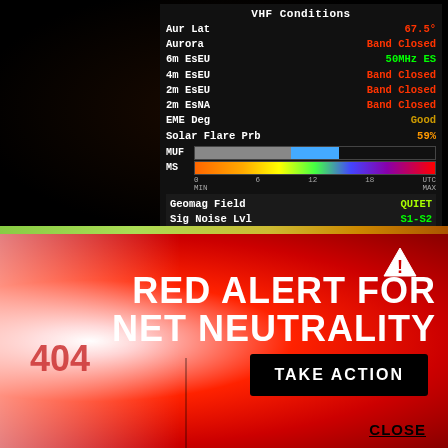VHF Conditions
| Field | Value |
| --- | --- |
| Aur Lat | 67.5° |
| Aurora | Band Closed |
| 6m EsEU | 50MHz ES |
| 4m EsEU | Band Closed |
| 2m EsEU | Band Closed |
| 2m EsNA | Band Closed |
| EME Deg | Good |
| Solar Flare Prb | 59% |
| Geomag Field | QUIET |
| Sig Noise Lvl | S1-S2 |
| MUF US Boulder | 8.79 |
[Figure (infographic): MUF and MS horizontal color gradient bars with UTC time scale from MIN(0) to MAX(18+)]
http://www.n0nbb.com
Copyright Paul L Herrman 2021
[Figure (infographic): Red Alert for Net Neutrality banner with warning triangle icon, 404 error code, TAKE ACTION button, and CLOSE link on red radial gradient background]